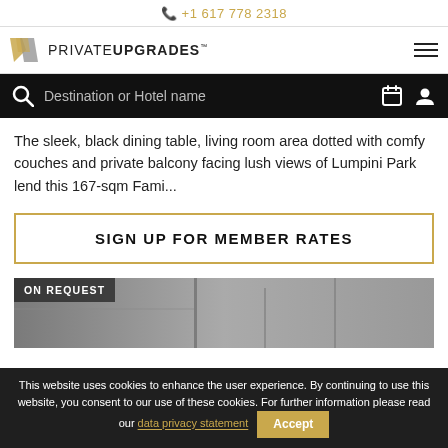+1 617 778 2318
[Figure (logo): PrivateUpgrades logo with golden PU monogram icon and text PRIVATEUPGRADES]
[Figure (infographic): Black search bar with magnifying glass, 'Destination or Hotel name' placeholder, calendar icon, and user icon]
The sleek, black dining table, living room area dotted with comfy couches and private balcony facing lush views of Lumpini Park lend this 167-sqm Fami...
SIGN UP FOR MEMBER RATES
[Figure (photo): Partial hotel room image with 'ON REQUEST' overlay tag in top-left corner]
This website uses cookies to enhance the user experience. By continuing to use this website, you consent to our use of these cookies. For further information please read our data privacy statement Accept